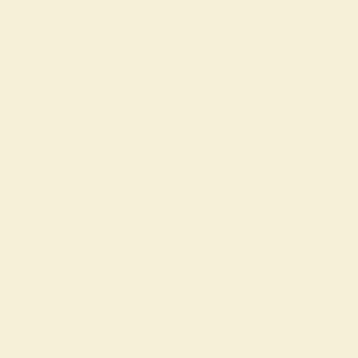| Lot | Description |
| --- | --- |
|  | engraved marks to base, pair of Mdina glass vases rims, the pink mottled g with engraved mark to |
| 47 | Two Mdina glass vases applied with thick gradr orange ground the othe flashes, a similarly deco each engraved to base glass bottle vase of sh flattened rim, decorated orange spiral ground, v shouldered flared rim v marks to base, 24cm a |
| 48 | Two Mdina glass vases with yellow spirals on a form decorated with pi engraved marks to bas vase of shouldered cub flashes on a spiraling b vase of rounded squar 16cm, 22.5cm and 10c |